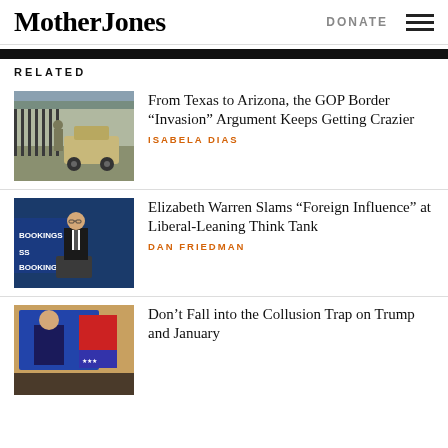Mother Jones
RELATED
[Figure (photo): Military Humvee and soldier near a border fence]
From Texas to Arizona, the GOP Border “Invasion” Argument Keeps Getting Crazier
ISABELA DIAS
[Figure (photo): Man in suit speaking at a Brookings Institution podium]
Elizabeth Warren Slams “Foreign Influence” at Liberal-Leaning Think Tank
DAN FRIEDMAN
[Figure (photo): Person visible on screen, partial article image]
Don’t Fall into the Collusion Trap on Trump and January